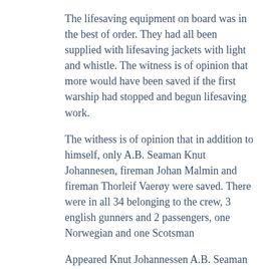The lifesaving equipment on board was in the best of order. They had all been supplied with lifesaving jackets with light and whistle. The witness is of opinion that more would have been saved if the first warship had stopped and begun lifesaving work.
The withess is of opinion that in addition to himself, only A.B. Seaman Knut Johannesen, fireman Johan Malmin and fireman Thorleif Vaerøy were saved. There were in all 34 belonging to the crew, 3 english gunners and 2 passengers, one Norwegian and one Scotsman
Appeared Knut Johannessen A.B. Seaman in the s/s"Annavore"
The witness stated that he was off duty and was sitting in the mess-room playing cards with mess-room boy Vedvik, gunner Wilhelmsen and A. B. Seaman Randolf Andersen on the 21st December when the casualty occured. A fireman, Kristian Korsbø, came in whilst they were sitting there and at